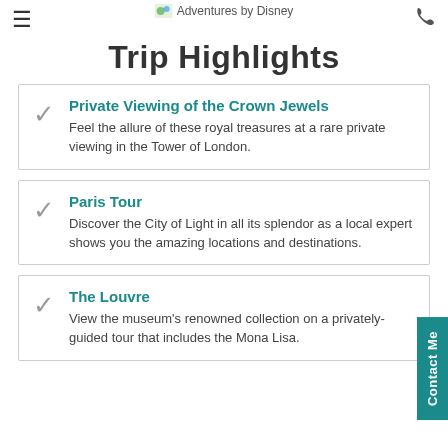Adventures by Disney
Trip Highlights
Private Viewing of the Crown Jewels — Feel the allure of these royal treasures at a rare private viewing in the Tower of London.
Paris Tour — Discover the City of Light in all its splendor as a local expert shows you the amazing locations and destinations.
The Louvre — View the museum's renowned collection on a privately-guided tour that includes the Mona Lisa.